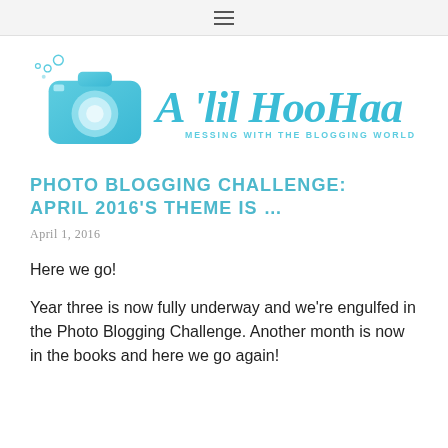≡
[Figure (logo): A 'lil HooHaa blog logo with camera icon and tagline 'MESSING WITH THE BLOGGING WORLD SINCE 2005']
PHOTO BLOGGING CHALLENGE: APRIL 2016'S THEME IS ...
April 1, 2016
Here we go!
Year three is now fully underway and we're engulfed in the Photo Blogging Challenge. Another month is now in the books and here we go again!